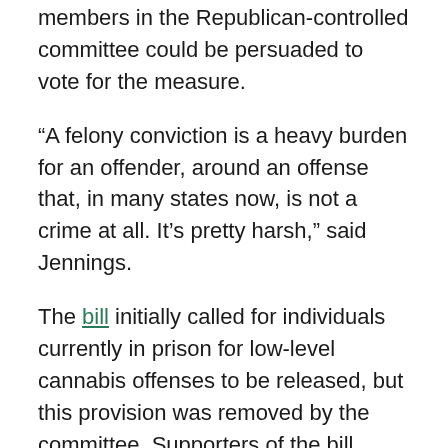members in the Republican-controlled committee could be persuaded to vote for the measure.
“A felony conviction is a heavy burden for an offender, around an offense that, in many states now, is not a crime at all. It’s pretty harsh,” said Jennings.
The bill initially called for individuals currently in prison for low-level cannabis offenses to be released, but this provision was removed by the committee. Supporters of the bill made this concession on the understanding that doing so would help get it passed, but it wasn’t to be.
“I thought this was mild enough that it might